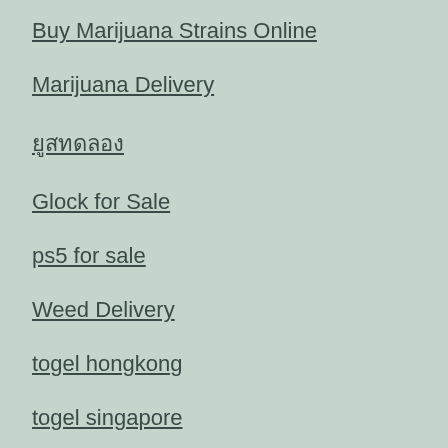Buy Marijuana Strains Online
Marijuana Delivery
ยูสทดลอง
Glock for Sale
ps5 for sale
Weed Delivery
togel hongkong
togel singapore
keluaran sgp